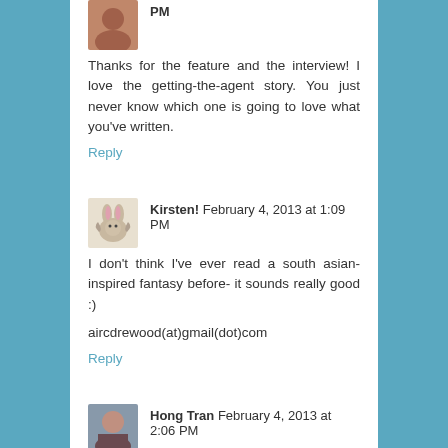PM
Thanks for the feature and the interview! I love the getting-the-agent story. You just never know which one is going to love what you've written.
Reply
Kirsten!  February 4, 2013 at 1:09 PM
I don't think I've ever read a south asian-inspired fantasy before- it sounds really good :)
aircdrewood(at)gmail(dot)com
Reply
Hong Tran  February 4, 2013 at 2:06 PM
Thanks for the interview!
I haved reading the first few chapters on